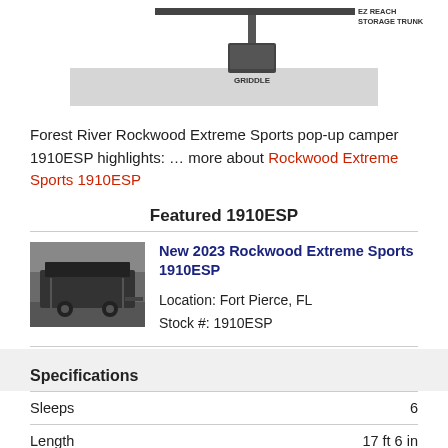[Figure (schematic): Partial diagram of a pop-up camper with labels including GRIDDLE at bottom center, EZ REACH STORAGE TRUNK at top right, and a gray bar beneath the diagram.]
Forest River Rockwood Extreme Sports pop-up camper 1910ESP highlights: … more about Rockwood Extreme Sports 1910ESP
Featured 1910ESP
[Figure (photo): Photo of a 2023 Rockwood Extreme Sports 1910ESP pop-up camper, shown folded/closed on a trailer in a covered lot.]
New 2023 Rockwood Extreme Sports 1910ESP
Location: Fort Pierce, FL
Stock #: 1910ESP
Specifications
|  |  |
| --- | --- |
| Sleeps | 6 |
| Length | 17 ft 6 in |